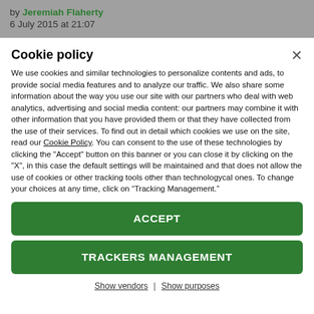by Jeremiah Flaherty
6 July 2015 at 21:07
Cookie policy
We use cookies and similar technologies to personalize contents and ads, to provide social media features and to analyze our traffic. We also share some information about the way you use our site with our partners who deal with web analytics, advertising and social media content: our partners may combine it with other information that you have provided them or that they have collected from the use of their services. To find out in detail which cookies we use on the site, read our Cookie Policy. You can consent to the use of these technologies by clicking the "Accept" button on this banner or you can close it by clicking on the "X", in this case the default settings will be maintained and that does not allow the use of cookies or other tracking tools other than technologycal ones. To change your choices at any time, click on “Tracking Management.”
ACCEPT
TRACKERS MANAGEMENT
Show vendors | Show purposes